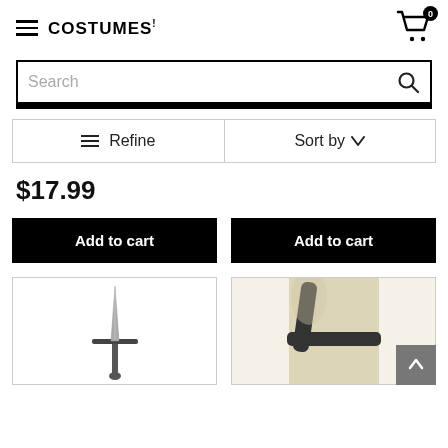COSTUMES! (hamburger menu, cart with 0 items)
Search
Refine   Sort by
$17.99
Add to cart
Add to cart
[Figure (photo): Costume sword prop (silver/grey medieval sword)]
[Figure (photo): Costume harness/chest strap accessory on mannequin]